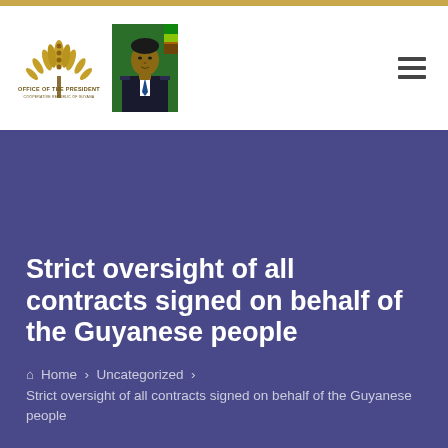[Figure (logo): Office of the President, Cooperative Republic of Guyana – wheat/palm crest logo with text]
[Figure (photo): Portrait photo of a man in a suit (the President) with a flag behind him]
Strict oversight of all contracts signed on behalf of the Guyanese people
Home › Uncategorized › Strict oversight of all contracts signed on behalf of the Guyanese people